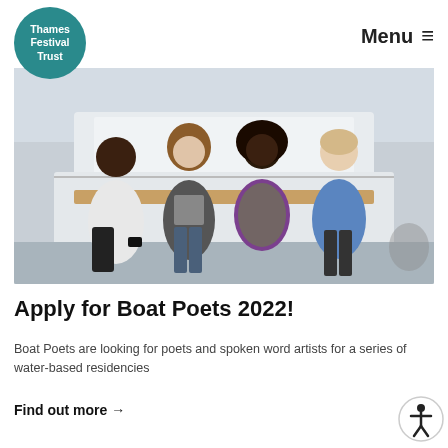[Figure (logo): Thames Festival Trust teal circular logo with white text]
Menu ≡
[Figure (photo): Four young people sitting on the stern deck of a white boat, outdoors at a harbour. From left: a young Black man in a white hoodie holding a camera, a young white woman in a grey top and dark cardigan, a young Black woman in a colourful purple and green patterned top, and a young white man in a blue shirt. Background shows water and other boats.]
Apply for Boat Poets 2022!
Boat Poets are looking for poets and spoken word artists for a series of water-based residencies
Find out more →
[Figure (illustration): Accessibility icon — circular button with a figure and arms outstretched]